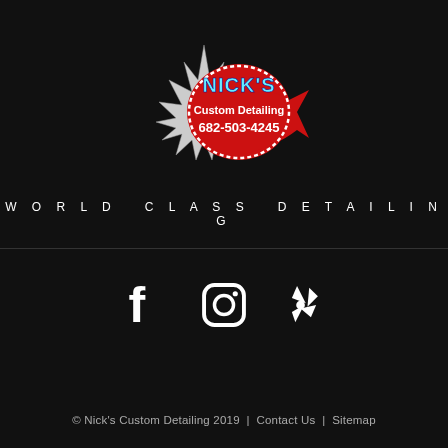[Figure (logo): Nick's Custom Detailing logo with red shield shape, starburst, and phone number 682-503-4245]
WORLD CLASS DETAILING
[Figure (illustration): Social media icons: Facebook, Instagram, Yelp]
© Nick's Custom Detailing 2019  |  Contact Us  |  Sitemap